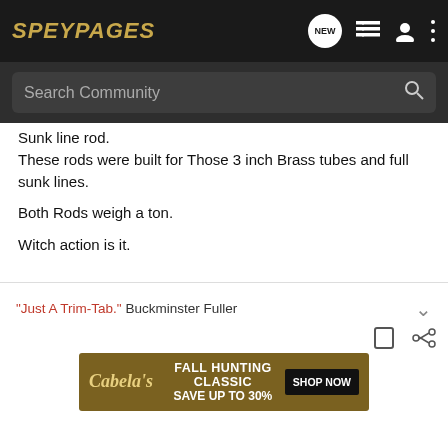SPEYPAGES
Search Community
Sunk line rod.
These rods were built for Those 3 inch Brass tubes and full sunk lines.

Both Rods weigh a ton.

Witch action is it.
"Just A Trim-Tab." Buckminster Fuller
[Figure (screenshot): Cabela's Fall Hunting Classic advertisement banner: Save Up To 30% with Shop Now button]